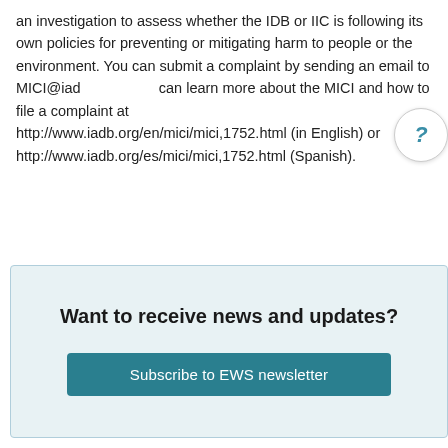an investigation to assess whether the IDB or IIC is following its own policies for preventing or mitigating harm to people or the environment. You can submit a complaint by sending an email to MICI@iadb.org. You can learn more about the MICI and how to file a complaint at http://www.iadb.org/en/mici/mici,1752.html (in English) or http://www.iadb.org/es/mici/mici,1752.html (Spanish).
Want to receive news and updates?
Subscribe to EWS newsletter